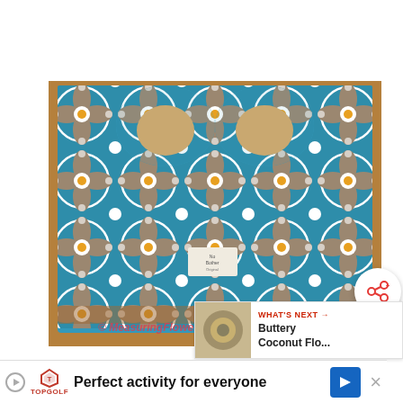[Figure (photo): A teal/blue patterned fabric diaper bag with geometric circular flower pattern in brown/white, sitting on a wooden surface. A white label is visible on the front. Watermark reads '© MeasuringFlower' in pink/red italic text.]
The diaper bag I have fallen in love with is one
[Figure (other): Advertisement banner: 'Perfect activity for everyone - Topgolf' with Topgolf logo and navigation arrow icon, with close button X]